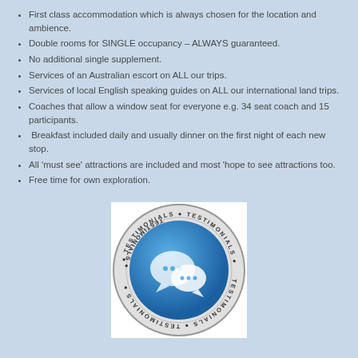First class accommodation which is always chosen for the location and ambience.
Double rooms for SINGLE occupancy – ALWAYS guaranteed.
No additional single supplement.
Services of an Australian escort on ALL our trips.
Services of local English speaking guides on ALL our international land trips.
Coaches that allow a window seat for everyone e.g. 34 seat coach and 15 participants.
Breakfast included daily and usually dinner on the first night of each new stop.
All 'must see' attractions are included and most 'hope to see attractions too.
Free time for own exploration.
[Figure (logo): Circular testimonials badge with speech bubble icons and 'TESTIMONIALS' text repeated around the border]